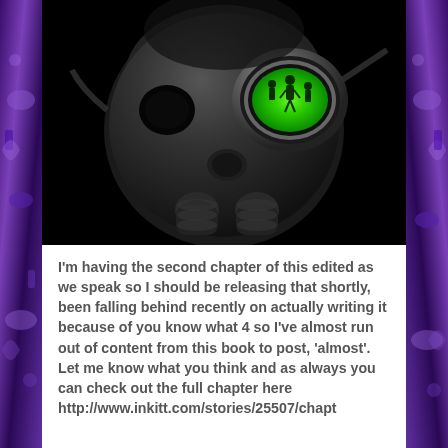[Figure (illustration): A dark digital illustration of a gas mask against a black background. The right eye lens glows bright green with silhouettes of human figures visible inside. The mask is rendered in dark gray metallic tones with visible filter canisters.]
I'm having the second chapter of this edited as we speak so I should be releasing that shortly, been falling behind recently on actually writing it because of you know what 4 so I've almost run out of content from this book to post, 'almost'. Let me know what you think and as always you can check out the full chapter here http://www.inkitt.com/stories/25507/chapt